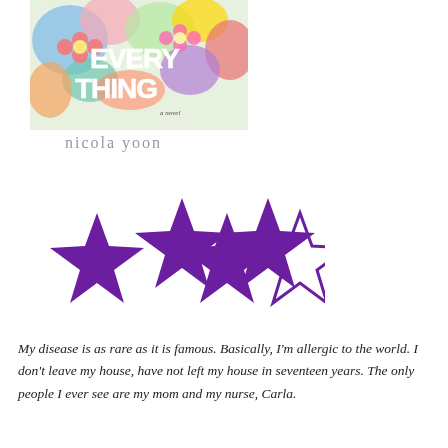[Figure (illustration): Book cover of 'Everything Everything' by Nicola Yoon — colorful floral illustration with large text 'EVERY THING' and subtitle 'a novel', author name 'nicola yoon' below]
[Figure (other): Star rating: 4 out of 5 stars — four filled purple stars and one empty/outline star, arranged in a staggered pattern]
My disease is as rare as it is famous. Basically, I'm allergic to the world. I don't leave my house, have not left my house in seventeen years. The only people I ever see are my mom and my nurse, Carla.